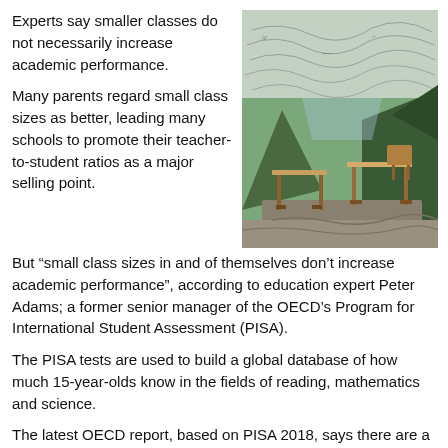Experts say smaller classes do not necessarily increase academic performance.
Many parents regard small class sizes as better, leading many schools to promote their teacher-to-student ratios as a major selling point.
[Figure (photo): School desks on a rocky outdoor cliff with mountain/forest scenery in the background, and a topographic map overlay in the upper portion]
But “small class sizes in and of themselves don't increase academic performance”, according to education expert Peter Adams; a former senior manager of the OECD’s Program for International Student Assessment (PISA).
The PISA tests are used to build a global database of how much 15-year-olds know in the fields of reading, mathematics and science.
The latest OECD report, based on PISA 2018, says there are a “number of ways in which small classes are, in theory, good for instruction and learning. In classes with fewer students, teachers might be able to allocate more time, attention and support to each student”.